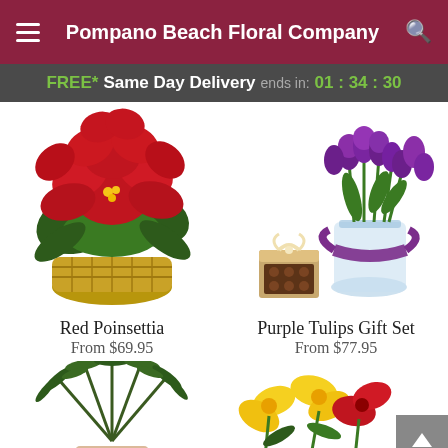Pompano Beach Floral Company
FREE* Same Day Delivery ends in: 01 : 34 : 30
[Figure (photo): Red Poinsettia plant in a woven basket]
[Figure (photo): Purple tulips in a glass vase with a small box of chocolates]
Red Poinsettia
From $69.95
Purple Tulips Gift Set
From $77.95
[Figure (photo): Green palm plant partially visible at the bottom left]
[Figure (photo): Yellow and red flower arrangement partially visible at the bottom right]